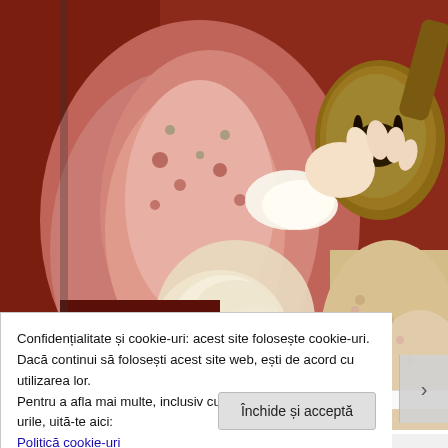[Figure (illustration): Close-up detail of a painting showing a woman in a pink floral dress with lace cuffs holding a mandolin/lute instrument. Rich warm tones of red, pink, cream and gold. Painting by Michele Gordigiani.]
Michele Gordigiani, pictor italian (1830-1909) ~ Woman wi...
Confidențialitate și cookie-uri: acest site folosește cookie-uri. Dacă continui să folosești acest site web, ești de acord cu utilizarea lor.
Pentru a afla mai multe, inclusiv cum să controlezi cookie-urile, uită-te aici:
Politică cookie-uri